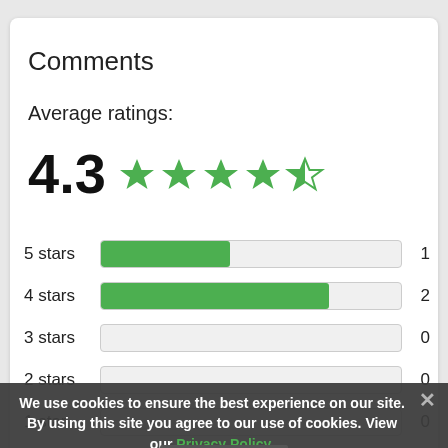Comments
Average ratings:
4.3 ★★★★☆
| Rating | Bar | Count |
| --- | --- | --- |
| 5 stars | [████████░░░░░░░░░░░░] | 1 |
| 4 stars | [██████░░░░░░░░░░░░░░] | 2 |
| 3 stars | [░░░░░░░░░░░░░░░░░░░░] | 0 |
| 2 stars | [░░░░░░░░░░░░░░░░░░░░] | 0 |
| 1 star | [░░░░░░░░░░░░░░░░░░░░] | 0 |
We use cookies to ensure the best experience on our site. By using this site you agree to our use of cookies. View our Privacy Policy.
Presley says
August 20, [:02 pm]
[Figure (other): 4-star rating shown as green stars]
OK